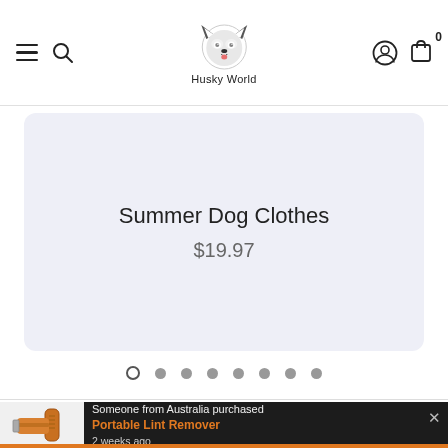Husky World
[Figure (screenshot): Product card showing Summer Dog Clothes at $19.97 on a light lavender background]
Summer Dog Clothes
$19.97
[Figure (other): Carousel pagination dots, 8 dots, first one is open circle (active), rest are filled gray]
[Figure (other): Purchase notification popup on dark background showing an image of a Portable Lint Remover, text: Someone from Australia purchased, Portable Lint Remover, 2 weeks ago, with X close button]